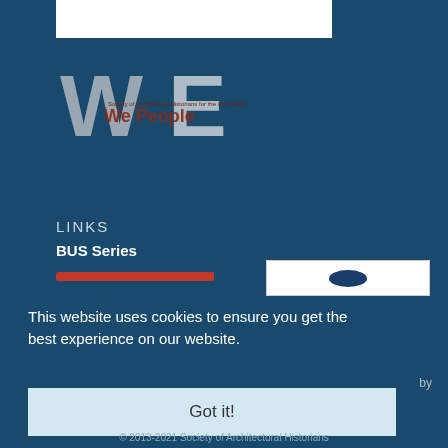[Figure (logo): WE logo with 'We People' text overlaid, gray and white letters on dark teal background]
LINKS
BUS Series
[Figure (other): Red horizontal bar (decorative divider)]
[Figure (other): White rectangle with dark blue oval/button inside]
This website uses cookies to ensure you get the best experience on our website.
by
Got it!
© 2013-2021 Society of Architectural Historians